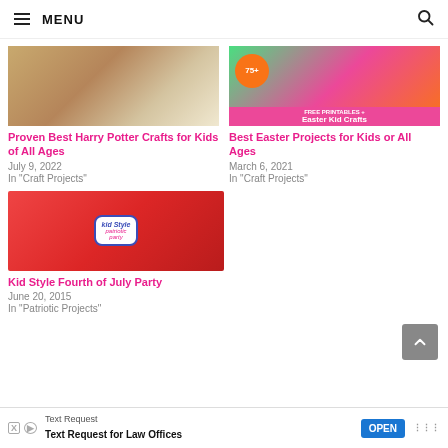≡ MENU  🔍
[Figure (photo): Harry Potter crafts image with craft materials on a table]
Proven Best Harry Potter Crafts for Kids of All Ages
July 9, 2022
In "Craft Projects"
[Figure (photo): Easter Kid Crafts with 75+ free printables orange circle badge on pink background]
Best Easter Projects for Kids or All Ages
March 6, 2021
In "Craft Projects"
[Figure (photo): Kid Style Patriotic Party with Hershey Kisses candies on red background]
Kid Style Fourth of July Party
June 20, 2015
In "Patriotic Projects"
Text Request  Text Request for Law Offices  OPEN